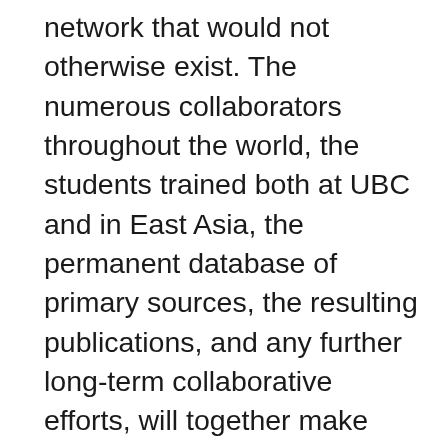network that would not otherwise exist. The numerous collaborators throughout the world, the students trained both at UBC and in East Asia, the permanent database of primary sources, the resulting publications, and any further long-term collaborative efforts, will together make UBC and Canada a major world hub for East Asian Studies where academic expertise can be translated into real-world knowledge to stimulate awareness of Asia-Pacific connections and international cooperation. UBC already has close ties across Asia, and as a Canadian university it is able to engage effectively with partners from countries with complicated political relationships.